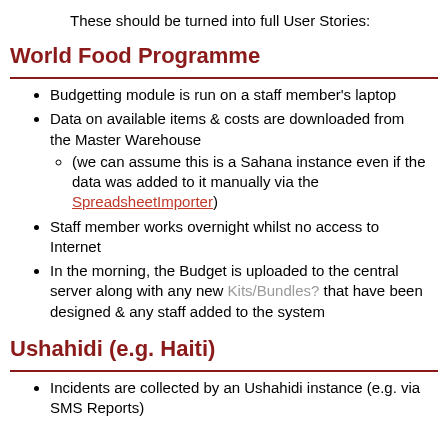These should be turned into full User Stories:
World Food Programme
Budgetting module is run on a staff member's laptop
Data on available items & costs are downloaded from the Master Warehouse (we can assume this is a Sahana instance even if the data was added to it manually via the SpreadsheetImporter)
Staff member works overnight whilst no access to Internet
In the morning, the Budget is uploaded to the central server along with any new Kits/Bundles? that have been designed & any staff added to the system
Ushahidi (e.g. Haiti)
Incidents are collected by an Ushahidi instance (e.g. via SMS Reports)